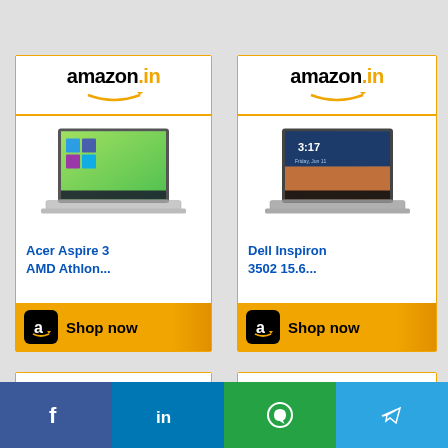[Figure (screenshot): Amazon.in ad card for Acer Aspire 3 AMD Athlon laptop with Shop now button]
[Figure (screenshot): Amazon.in ad card for Dell Inspiron 3502 15.6 laptop with Shop now button]
[Figure (screenshot): Amazon.in ad card bottom partial view left]
[Figure (screenshot): Amazon.in ad card bottom partial view right]
[Figure (infographic): Social share bar with Facebook, LinkedIn, WhatsApp, Telegram icons]